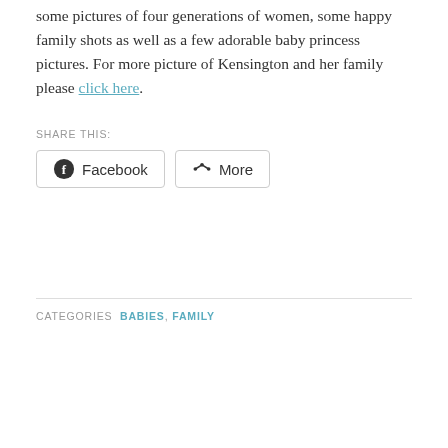some pictures of four generations of women, some happy family shots as well as a few adorable baby princess pictures. For more picture of Kensington and her family please click here.
SHARE THIS:
[Figure (other): Social sharing buttons: Facebook and More]
CATEGORIES  BABIES, FAMILY